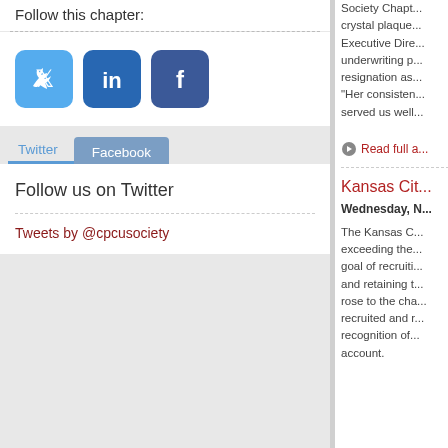Follow this chapter:
[Figure (illustration): Social media icons: Twitter (light blue bird), LinkedIn (dark blue 'in'), Facebook (dark blue 'f')]
Twitter | Facebook (tabs)
Follow us on Twitter
Tweets by @cpcusociety
Society Chapt... crystal plaque... Executive Dire... underwriting p... resignation as... "Her consisten... served us well...
Read full a...
Kansas Cit...
Wednesday, N...
The Kansas C... exceeding the... goal of recruiti... and retaining t... rose to the cha... recruited and r... recognition of... account.